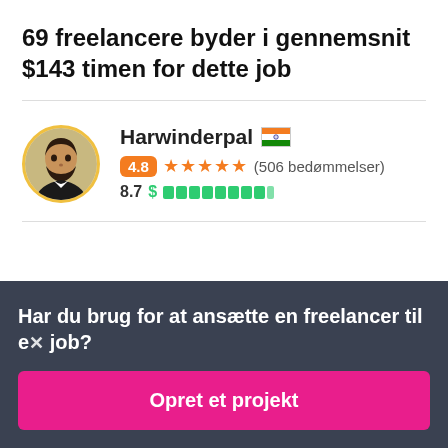69 freelancere byder i gennemsnit $143 timen for dette job
Harwinderpal 🇮🇳 4.8 ★★★★★ (506 bedømmelser) 8.7 $ ████████▌
Har du brug for at ansætte en freelancer til et job?
Opret et projekt